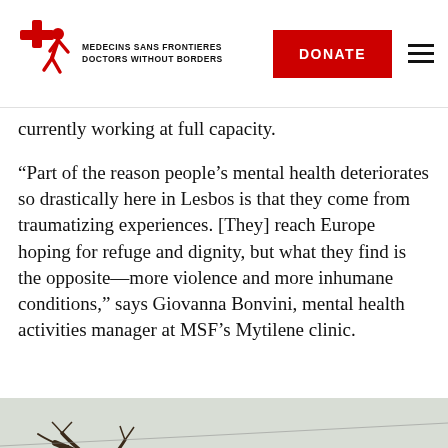MEDECINS SANS FRONTIERES DOCTORS WITHOUT BORDERS | DONATE
currently working at full capacity.
“Part of the reason people’s mental health deteriorates so drastically here in Lesbos is that they come from traumatizing experiences. [They] reach Europe hoping for refuge and dignity, but what they find is the opposite—more violence and more inhumane conditions,” says Giovanna Bonvini, mental health activities manager at MSF’s Mytilene clinic.
[Figure (photo): Landscape photo showing a bare tree with twisted branches in the foreground, green rolling hills and bushes in the background, under an overcast sky. Likely taken in Lesbos, Greece.]